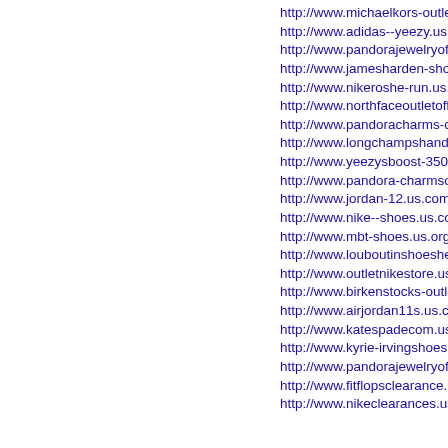http://www.michaelkors-outletcanada.c
http://www.adidas--yeezy.us.com/
http://www.pandorajewelryofficialsite.u
http://www.jamesharden-shoes.us.com/
http://www.nikeroshe-run.us.com/
http://www.northfaceoutletoff.us.com/
http://www.pandoracharms-clearance.u
http://www.longchampshandbags.us.co
http://www.yeezysboost-350.us.com/
http://www.pandora-charmsoutlet.us.or
http://www.jordan-12.us.com/
http://www.nike--shoes.us.com/
http://www.mbt-shoes.us.org/
http://www.louboutinshoesheels.us.com
http://www.outletnikestore.us.com/
http://www.birkenstocks-outletonline.u
http://www.airjordan11s.us.com/
http://www.katespadecom.us.com/
http://www.kyrie-irvingshoes.us.com/
http://www.pandorajewelryofficial-site.
http://www.fitflopsclearance.us.com/
http://www.nikeclearances.us.com/